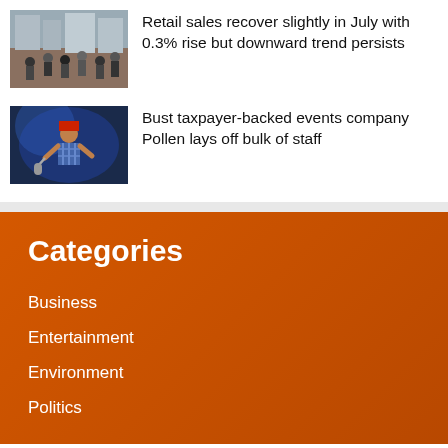[Figure (photo): Crowd of people on a busy street, urban shopping scene]
Retail sales recover slightly in July with 0.3% rise but downward trend persists
[Figure (photo): Person in red hat and plaid shirt performing on stage with blue lighting]
Bust taxpayer-backed events company Pollen lays off bulk of staff
Categories
Business
Entertainment
Environment
Politics